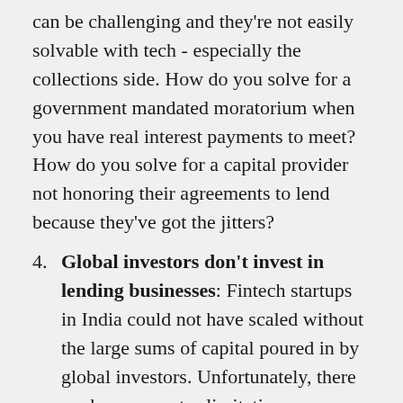can be challenging and they're not easily solvable with tech - especially the collections side. How do you solve for a government mandated moratorium when you have real interest payments to meet? How do you solve for a capital provider not honoring their agreements to lend because they've got the jitters?
4. Global investors don't invest in lending businesses: Fintech startups in India could not have scaled without the large sums of capital poured in by global investors. Unfortunately, there are home-country limitations on investments these funds can make in global financial companies and there are RBI's limitations as well. There's a reason why "what we think" as lending unicorns in the above list